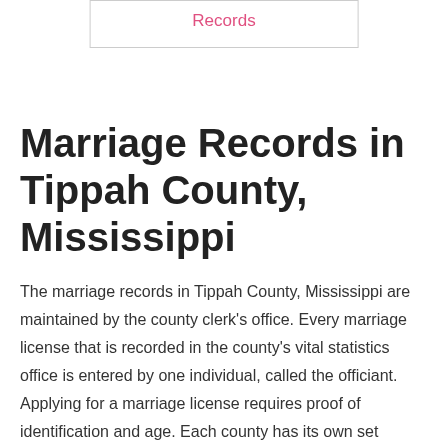Records
Marriage Records in Tippah County, Mississippi
The marriage records in Tippah County, Mississippi are maintained by the county clerk's office. Every marriage license that is recorded in the county's vital statistics office is entered by one individual, called the officiant. Applying for a marriage license requires proof of identification and age. Each county has its own set